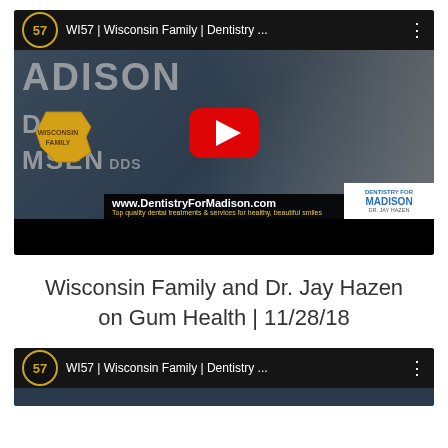[Figure (screenshot): YouTube video thumbnail showing WI57 Wisconsin Family Dentistry For Madison channel video with play button. A man in a blazer is visible. Text overlays show clinic name MADISON DDS MSEN DDS, Wisconsin Family map logo, www.DentistryForMadison.com caption bar, and Dentistry for Madison logo.]
Wisconsin Family and Dr. Jay Hazen on Gum Health | 11/28/18
[Figure (screenshot): Partial YouTube video thumbnail showing WI57 Wisconsin Family Dentistry channel header bar with channel badge showing '57', title text 'WI57 | Wisconsin Family | Dentistry ...' and three dots menu icon.]